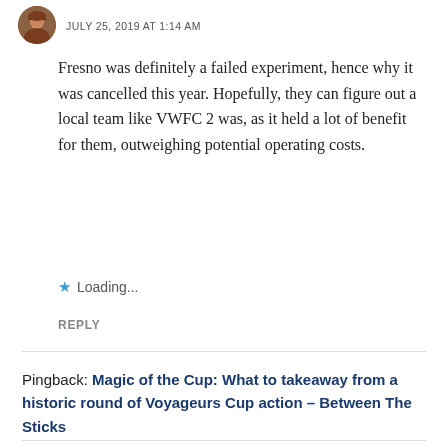JULY 25, 2019 AT 1:14 AM
Fresno was definitely a failed experiment, hence why it was cancelled this year. Hopefully, they can figure out a local team like VWFC 2 was, as it held a lot of benefit for them, outweighing potential operating costs.
★ Loading...
REPLY
Pingback: Magic of the Cup: What to takeaway from a historic round of Voyageurs Cup action – Between The Sticks